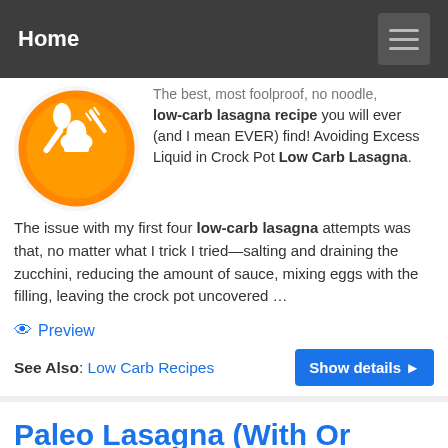Home
The best, most foolproof, no noodle, low-carb lasagna recipe you will ever (and I mean EVER) find! Avoiding Excess Liquid in Crock Pot Low Carb Lasagna. The issue with my first four low-carb lasagna attempts was that, no matter what I trick I tried—salting and draining the zucchini, reducing the amount of sauce, mixing eggs with the filling, leaving the crock pot uncovered …
Preview
See Also: Low Carb Recipes
Paleo Lasagna (With Or Without Cheese) Irena Macri